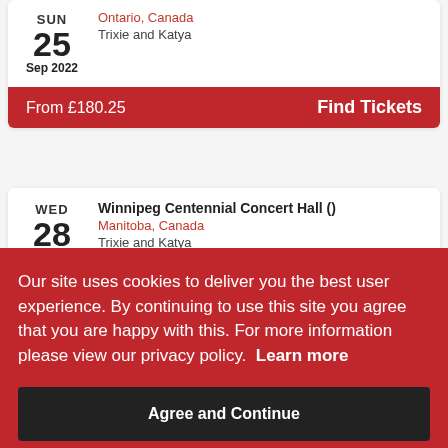SUN
25
Sep 2022
Ontario, Canada
Trixie and Katya
From £180.25   Find Tickets
WED
28
Winnipeg Centennial Concert Hall ()
Manitoba, Canada
Trixie and Katya
Our site uses cookies to deliver you the best user experience. By continuing to use this site you agree that you are happy with this. For more information please view our privacy policy.  Learn more
Agree and Continue